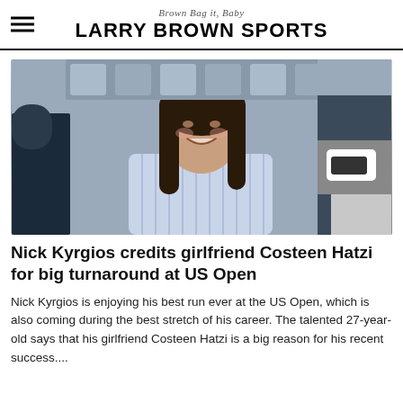Brown Bag it, Baby
LARRY BROWN SPORTS
[Figure (photo): A young woman with long dark hair, smiling, seated in stadium stands wearing a light blue striped button-up shirt. Stadium seating and other spectators visible in background.]
Nick Kyrgios credits girlfriend Costeen Hatzi for big turnaround at US Open
Nick Kyrgios is enjoying his best run ever at the US Open, which is also coming during the best stretch of his career. The talented 27-year-old says that his girlfriend Costeen Hatzi is a big reason for his recent success....